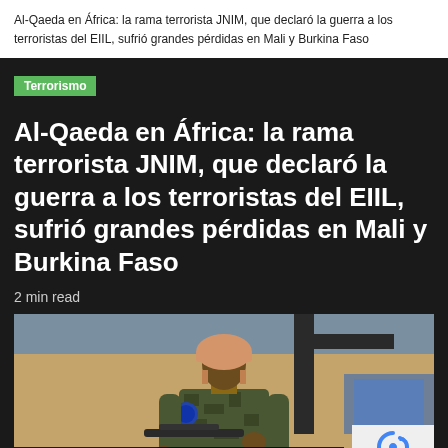Al-Qaeda en África: la rama terrorista JNIM, que declaró la guerra a los terroristas del EIIL, sufrió grandes pérdidas en Mali y Burkina Faso
Terrorismo
Al-Qaeda en África: la rama terrorista JNIM, que declaró la guerra a los terroristas del EIIL, sufrió grandes pérdidas en Mali y Burkina Faso
2 min read
[Figure (photo): A soldier wearing a military helmet and camouflage uniform, carrying a weapon, photographed from the side against an urban background.]
Política de privacidad y cookies